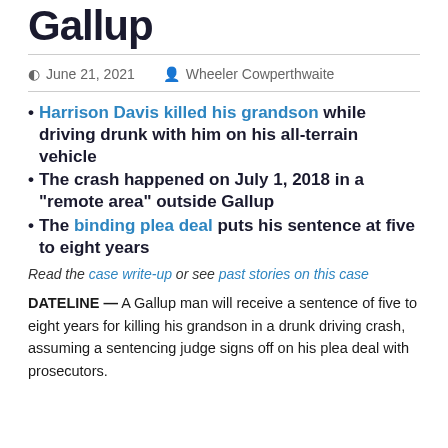Gallup
June 21, 2021   Wheeler Cowperthwaite
Harrison Davis killed his grandson while driving drunk with him on his all-terrain vehicle
The crash happened on July 1, 2018 in a “remote area” outside Gallup
The binding plea deal puts his sentence at five to eight years
Read the case write-up or see past stories on this case
DATELINE — A Gallup man will receive a sentence of five to eight years for killing his grandson in a drunk driving crash, assuming a sentencing judge signs off on his plea deal with prosecutors.